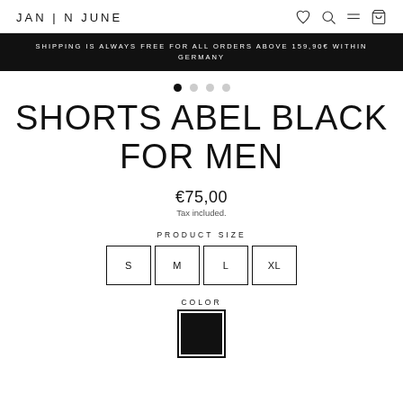JAN N JUNE
SHIPPING IS ALWAYS FREE FOR ALL ORDERS ABOVE 159,90€ WITHIN GERMANY
SHORTS ABEL BLACK FOR MEN
€75,00
Tax included.
PRODUCT SIZE
S  M  L  XL
COLOR